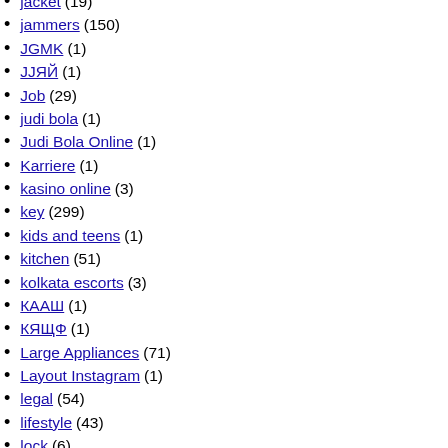jacket (19)
jammers (150)
JGMK (1)
JJЯЙ (1)
Job (29)
judi bola (1)
Judi Bola Online (1)
Karriere (1)
kasino online (3)
key (299)
kids and teens (1)
kitchen (51)
kolkata escorts (3)
КААШ (1)
КЯЩФ (1)
Large Appliances (71)
Layout Instagram (1)
legal (54)
lifestyle (43)
lock (6)
locksmith (3)
ЛГW7 (1)
ЛЩНШ (27)
Magento support (10)
Make-up (5)
Manufacturing (1)